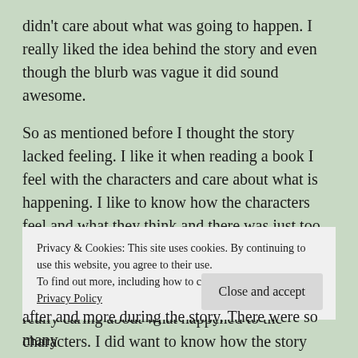didn't care about what was going to happen. I really liked the idea behind the story and even though the blurb was vague it did sound awesome.

So as mentioned before I thought the story lacked feeling. I like it when reading a book I feel with the characters and care about what is happening. I like to know how the characters feel and what they think and there was just too less of that in this book. Most of the time I had no idea what they were feeling or why they were acting a certain way. This resulted in me not really caring about what happened to the characters. I did want to know how the story ended, because so many things
Privacy & Cookies: This site uses cookies. By continuing to use this website, you agree to their use.
To find out more, including how to control cookies, see here: Privacy Policy
Close and accept
after and more during the story. There were so many